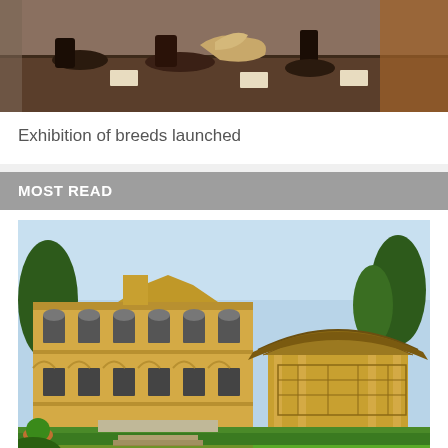[Figure (photo): Display of leather shoes and gloves on a wooden table in a museum or exhibition setting]
Exhibition of breeds launched
MOST READ
[Figure (photo): Photograph of a large ornate yellow colonial-style mansion with a traditional Asian pavilion structure in the garden, surrounded by tropical trees and manicured hedges]